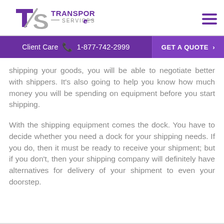TS Transportation Services — Client Care 1-877-742-2999 | GET A QUOTE
shipping your goods, you will be able to negotiate better with shippers. It's also going to help you know how much money you will be spending on equipment before you start shipping.
With the shipping equipment comes the dock. You have to decide whether you need a dock for your shipping needs. If you do, then it must be ready to receive your shipment; but if you don't, then your shipping company will definitely have alternatives for delivery of your shipment to even your doorstep.